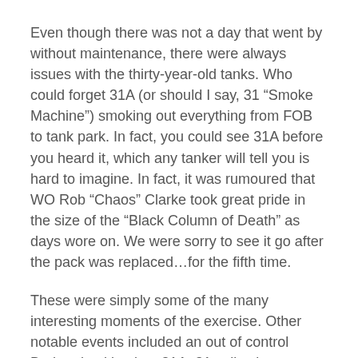Even though there was not a day that went by without maintenance, there were always issues with the thirty-year-old tanks. Who could forget 31A (or should I say, 31 “Smoke Machine”) smoking out everything from FOB to tank park. In fact, you could see 31A before you heard it, which any tanker will tell you is hard to imagine. In fact, it was rumoured that WO Rob “Chaos” Clarke took great pride in the size of the “Black Column of Death” as days wore on. We were sorry to see it go after the pack was replaced…for the fifth time.
These were simply some of the many interesting moments of the exercise. Other notable events included an out of control Badger backing into 31A, 31 collecting a FOB’s worth of razor wire, the “mud” walls and houses catching fire on the range, and the brigade-sized parade with French drill commands.